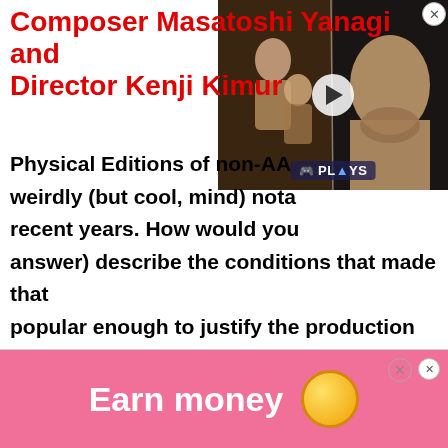Composer Masatoshi Yanagi and Director Kenji Kimur
Physical Editions of non-AA weirdly (but cool, mind) nota recent years. How would you answer) describe the conditions that made that popular enough to justify the production costs?
[Figure (screenshot): Video overlay thumbnail showing a cinematic scene from a game with two characters. A play button is visible in the center and a 'PLAYS' badge with a gamepad icon at the bottom. A close (X) button is at the top right corner.]
[Figure (photo): Advertisement banner with pink background showing 'Earn money' text in white bold letters and a gold coin graphic. Has close buttons at top right.]